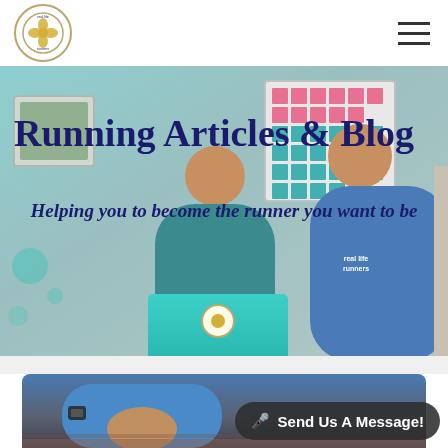Real Life Runners logo and hamburger menu
[Figure (photo): Hero banner with two people (a woman in teal shirt and a man in blue Real Life Runners shirt) sitting behind a teal laptop, with a colorful grid chart on the wall behind them. Teal and blue background.]
Running Articles & Blog
Helping you to become the runner you want to be
[Figure (photo): A person in a blue jacket holding something, shot from mid-torso down, standing near brick steps.]
🎤 Send Us A Message!